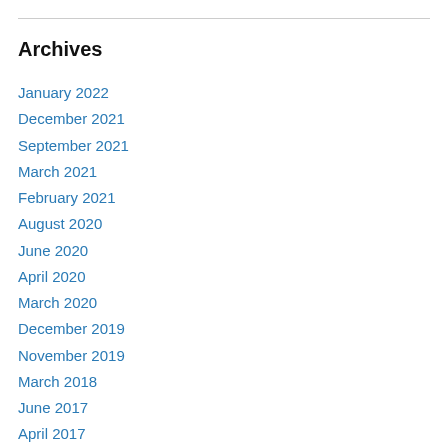Archives
January 2022
December 2021
September 2021
March 2021
February 2021
August 2020
June 2020
April 2020
March 2020
December 2019
November 2019
March 2018
June 2017
April 2017
December 2016
October 2016
July 2016